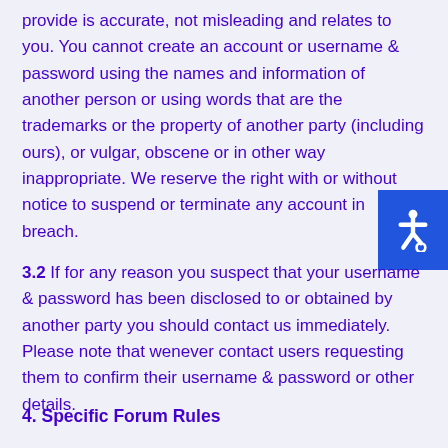provide is accurate, not misleading and relates to you. You cannot create an account or username & password using the names and information of another person or using words that are the trademarks or the property of another party (including ours), or vulgar, obscene or in other way inappropriate. We reserve the right with or without notice to suspend or terminate any account in breach.
3.2 If for any reason you suspect that your username & password has been disclosed to or obtained by another party you should contact us immediately. Please note that wenever contact users requesting them to confirm their username & password or other details.
4. Specific Forum Rules